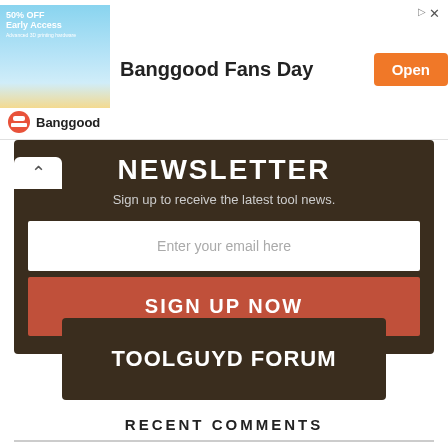[Figure (screenshot): Banggood Fans Day advertisement banner with 50% OFF Early Access image, bold title text, and orange Open button]
NEWSLETTER
Sign up to receive the latest tool news.
Enter your email here
SIGN UP NOW
TOOLGUYD FORUM
RECENT COMMENTS